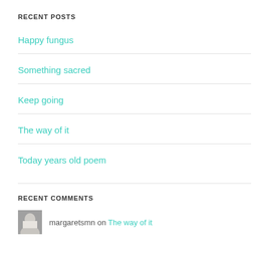RECENT POSTS
Happy fungus
Something sacred
Keep going
The way of it
Today years old poem
RECENT COMMENTS
margaretsmn on The way of it